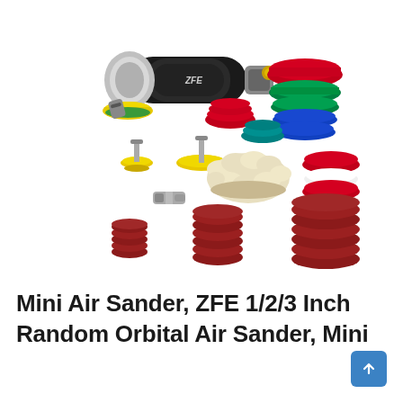[Figure (photo): Product photo of ZFE Mini Air Sander kit showing a black pneumatic orbital sander with yellow sanding pad attached, multiple foam polishing pads in red, green, blue, white colors, a wool buffing pad, metal adapter connector, and three rows of dark red sanding discs arranged by size (small 1-inch, medium 2-inch, large 3-inch).]
Mini Air Sander, ZFE 1/2/3 Inch Random Orbital Air Sander, Mini